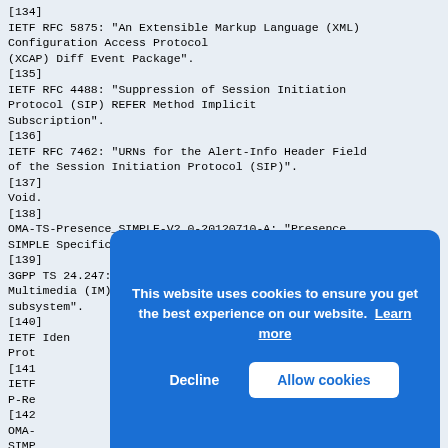[134]
IETF RFC 5875: "An Extensible Markup Language (XML) Configuration Access Protocol (XCAP) Diff Event Package".
[135]
IETF RFC 4488: "Suppression of Session Initiation Protocol (SIP) REFER Method Implicit Subscription".
[136]
IETF RFC 7462: "URNs for the Alert-Info Header Field of the Session Initiation Protocol (SIP)".
[137]
Void.
[138]
OMA-TS-Presence_SIMPLE-V2_0-20120710-A: "Presence SIMPLE Specification".
[139]
3GPP TS 24.247: "Messaging service using the IP Multimedia (IM) Core Network (CN) subsystem".
[140]
IETF Iden Prot
[141]
IETF P-Re
[142]
OMA- SIMP
[143]
IETF Features and Capabilities in the Session
[Figure (screenshot): Cookie consent banner overlay with blue background. Text reads 'This website uses cookies to ensure you get the best experience on our website. Learn more'. Two buttons: 'Decline' (white text, no background) and 'Allow cookies' (blue text on white background).]